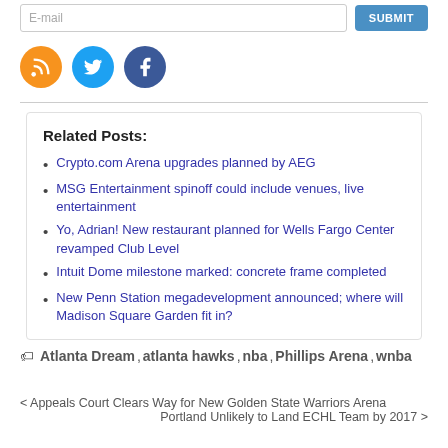[Figure (other): Email input field with SUBMIT button and social media icons (RSS orange, Twitter blue, Facebook dark blue)]
Related Posts:
Crypto.com Arena upgrades planned by AEG
MSG Entertainment spinoff could include venues, live entertainment
Yo, Adrian! New restaurant planned for Wells Fargo Center revamped Club Level
Intuit Dome milestone marked: concrete frame completed
New Penn Station megadevelopment announced; where will Madison Square Garden fit in?
Atlanta Dream , atlanta hawks , nba , Phillips Arena , wnba
< Appeals Court Clears Way for New Golden State Warriors Arena   Portland Unlikely to Land ECHL Team by 2017 >